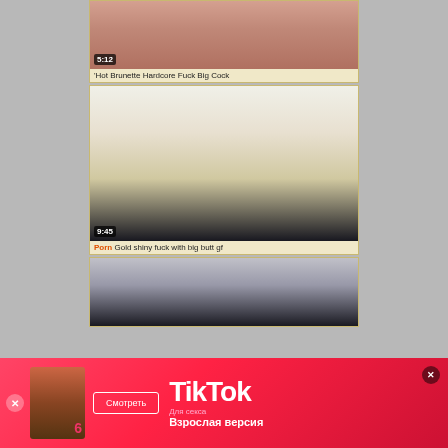[Figure (screenshot): Video thumbnail 1 - Hot Brunette Hardcore, duration 5:12]
'Hot Brunette Hardcore Fuck Big Cock
[Figure (screenshot): Video thumbnail 2 - Gold shiny fuck with big butt gf, duration 9:45]
Porn Gold shiny fuck with big butt gf
[Figure (screenshot): Video thumbnail 3 - partial view]
[Figure (screenshot): TikTok advertisement banner with Cyrillic text: Смотреть, Для секса, Взрослая версия]